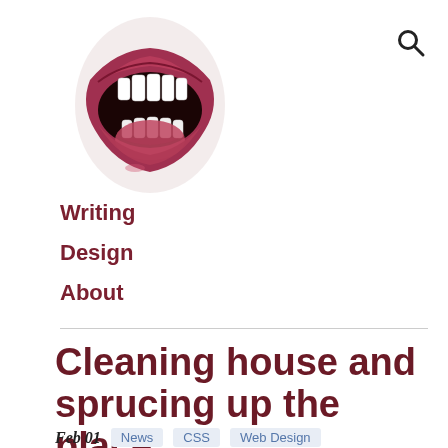[Figure (illustration): An illustration of an open mouth/lips with teeth visible, drawn in a realistic style with dark red and pink tones.]
Writing
Design
About
Cleaning house and sprucing up the place
Feb 01   News   CSS   Web Design